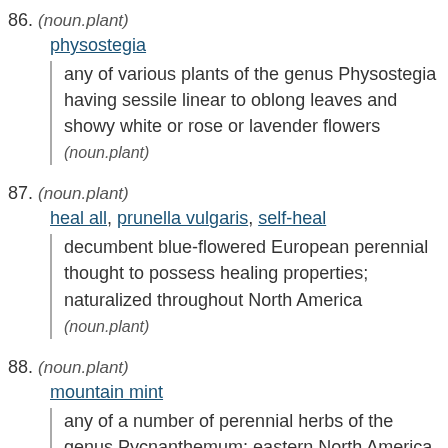86. (noun.plant)
physostegia
any of various plants of the genus Physostegia having sessile linear to oblong leaves and showy white or rose or lavender flowers (noun.plant)
87. (noun.plant)
heal all, prunella vulgaris, self-heal
decumbent blue-flowered European perennial thought to possess healing properties; naturalized throughout North America (noun.plant)
88. (noun.plant)
mountain mint
any of a number of perennial herbs of the genus Pycnanthemum; eastern North America and California